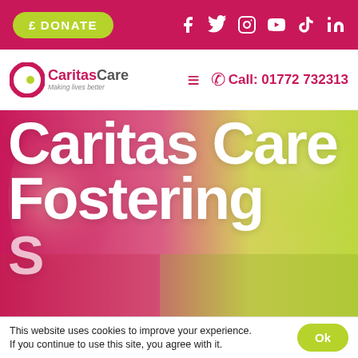£ DONATE — social icons: Facebook, Twitter, Instagram, YouTube, TikTok, LinkedIn
[Figure (logo): Caritas Care logo with circular C icon and tagline 'Making lives better']
Call: 01772 732313
[Figure (photo): Hero image background showing blurred pink and green-yellow background with children. Large white text overlay reads 'Caritas Care Fostering S...' (bottom text cut off)]
This website uses cookies to improve your experience. If you continue to use this site, you agree with it.